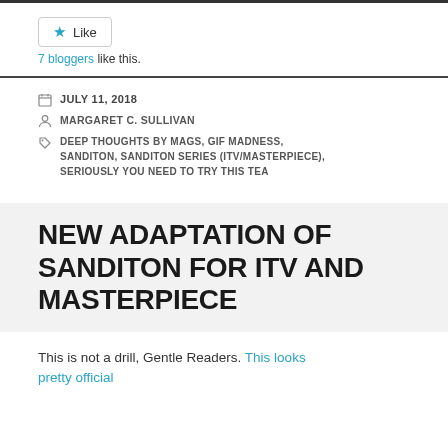Like
7 bloggers like this.
JULY 11, 2018
MARGARET C. SULLIVAN
DEEP THOUGHTS BY MAGS, GIF MADNESS, SANDITON, SANDITON SERIES (ITV/MASTERPIECE), SERIOUSLY YOU NEED TO TRY THIS TEA
NEW ADAPTATION OF SANDITON FOR ITV AND MASTERPIECE
This is not a drill, Gentle Readers. This looks pretty official